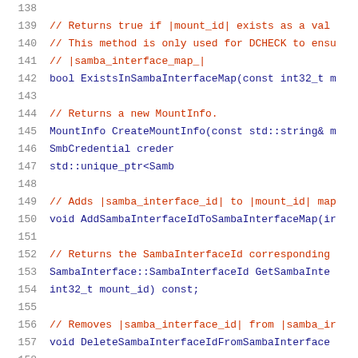[Figure (screenshot): Source code listing lines 138-159 in C++ showing method declarations in a class. Comments in dark red/brown, code in dark blue, monospace font on white background.]